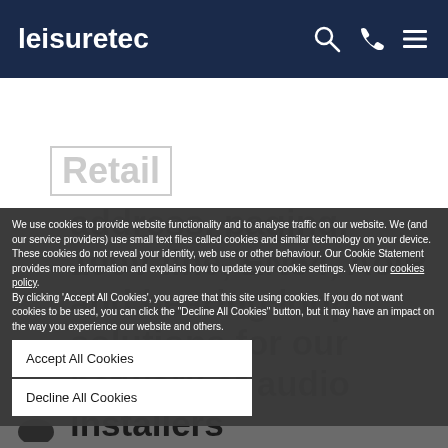leisuretec
Retail
We use cookies to provide website functionality and to analyse traffic on our website. We (and our service providers) use small text files called cookies and similar technology on your device. These cookies do not reveal your identity, web use or other behaviour. Our Cookie Statement provides more information and explains how to update your cookie settings. View our cookies policy. By clicking 'Accept All Cookies', you agree that this site using cookies. If you do not want cookies to be used, you can click the "Decline All Cookies" button, but it may have an impact on the way you experience our website and others.
Accept All Cookies
Decline All Cookies
Stocking a diverse choice of public address, paging, 100V line, EN54, AoIP and hearing loop solutions for our network of audio installers